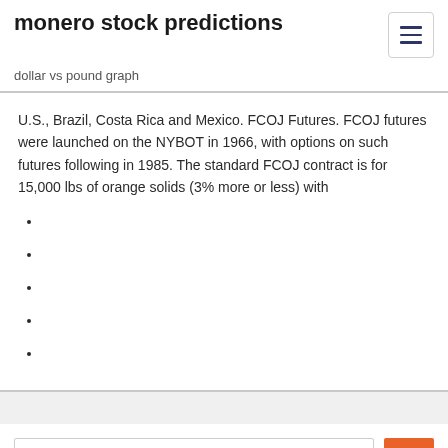monero stock predictions
dollar vs pound graph
U.S., Brazil, Costa Rica and Mexico. FCOJ Futures. FCOJ futures were launched on the NYBOT in 1966, with options on such futures following in 1985. The standard FCOJ contract is for 15,000 lbs of orange solids (3% more or less) with